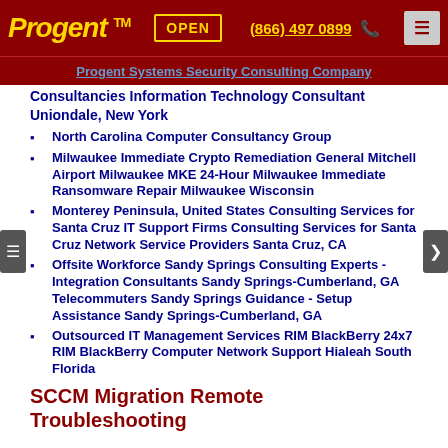Progent™ OPEN (866) 497 0899
Progent Systems Security Consulting Company
Consultancies Information Technology Consultant Uniondale, New York
North Carolina Computer Consultancy Group
Milwaukee Immediate Crypto Remediation General Mitchell Airport Milwaukee MKE 24-Hour Milwaukee Immediate Ransomware Repair Milwaukee Wisconsin
Monterey Peninsula, United States Consulting Services for Santa Cruz IT Support Firms Consulting Services for Santa Cruz Network Service Providers Santa Cruz, CA
Offsite Workforce Sandy Springs Consulting Experts - Integration Consultants Sandy Springs-Cumberland, GA Telecommuters Sandy Springs Guidance - Setup Assistance Sandy Springs-Cumberland, GA
Outsourced IT Management Services RIM BlackBerry 24x7 RIM BlackBerry Computer Network Support Hialeah South Florida
SCCM Migration Remote Troubleshooting